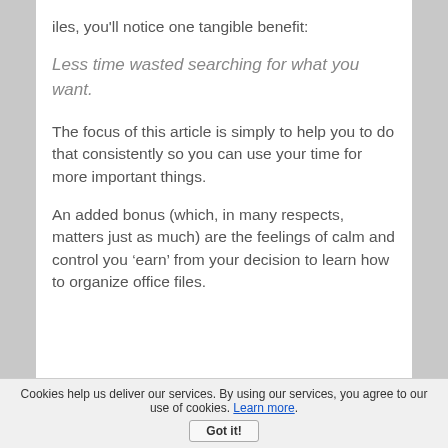iles, you'll notice one tangible benefit:
Less time wasted searching for what you want.
The focus of this article is simply to help you to do that consistently so you can use your time for more important things.
An added bonus (which, in many respects, matters just as much) are the feelings of calm and control you ‘earn’ from your decision to learn how to organize office files.
Cookies help us deliver our services. By using our services, you agree to our use of cookies. Learn more. Got it!